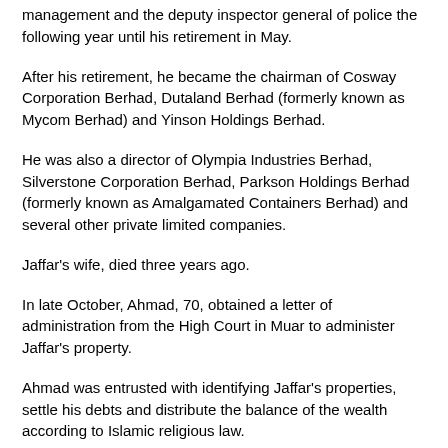management and the deputy inspector general of police the following year until his retirement in May.
After his retirement, he became the chairman of Cosway Corporation Berhad, Dutaland Berhad (formerly known as Mycom Berhad) and Yinson Holdings Berhad.
He was also a director of Olympia Industries Berhad, Silverstone Corporation Berhad, Parkson Holdings Berhad (formerly known as Amalgamated Containers Berhad) and several other private limited companies.
Jaffar's wife, died three years ago.
In late October, Ahmad, 70, obtained a letter of administration from the High Court in Muar to administer Jaffar's property.
Ahmad was entrusted with identifying Jaffar's properties, settle his debts and distribute the balance of the wealth according to Islamic religious law.
However, Jeffri went to the syariah court to file an action to